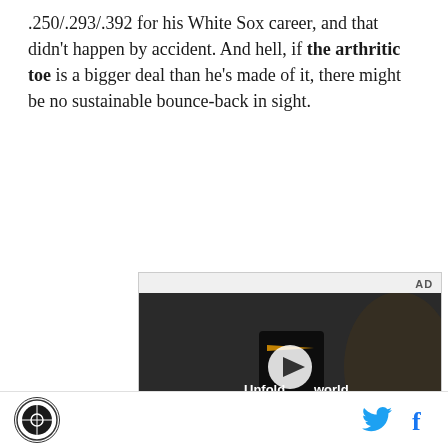.250/.293/.392 for his White Sox career, and that didn't happen by accident. And hell, if the arthritic toe is a bigger deal than he's made of it, there might be no sustainable bounce-back in sight.
[Figure (other): Advertisement video thumbnail showing a person holding a foldable phone in a car, with text 'Unfold your world' and a play button overlay. AD label at top right.]
Logo icon, Twitter bird icon, Facebook f icon